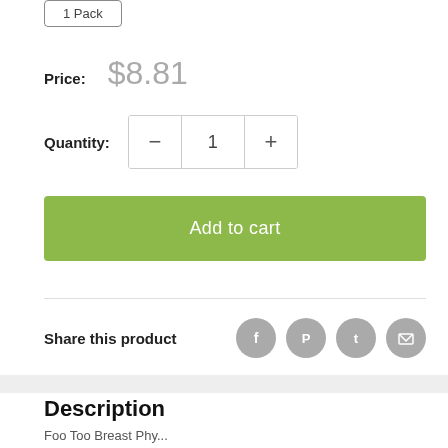[Figure (other): 1 Pack button (selected option)]
Price: $8.81
Quantity: 1
Add to cart
Share this product
Description
Foo Too Breast Phy...